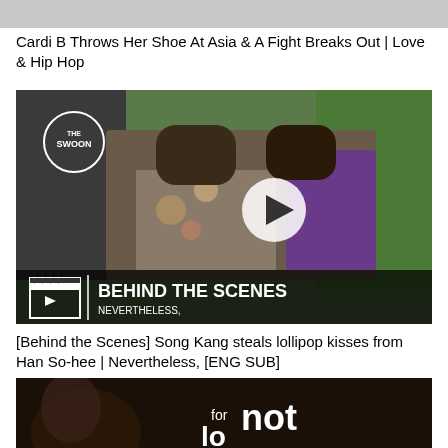[Figure (screenshot): Top gray image strip, partially cut off from previous content]
Cardi B Throws Her Shoe At Asia & A Fight Breaks Out | Love & Hip Hop
[Figure (screenshot): Video thumbnail showing two people kissing outdoors with greenery in background. 'THE SWOON' logo in top-left corner. Play button overlay in center. Bottom overlay text reads: clapperboard icon | BEHIND THE SCENES | NEVERTHELESS,]
[Behind the Scenes] Song Kang steals lollipop kisses from Han So-hee | Nevertheless, [ENG SUB]
[Figure (screenshot): Partially visible video thumbnail with dark background and large white text reading 'for not' and a person partially visible on left side]